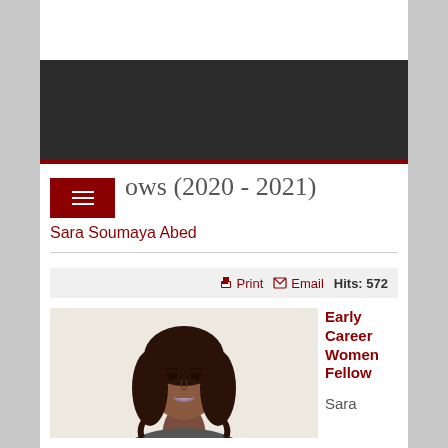Fellows (2020 - 2021)
Sara Soumaya Abed
Print  Email  Hits: 572
[Figure (photo): Headshot photo of Sara Soumaya Abed, a young woman with long dark curly hair, against a light background]
Early Career Women Fellow
Sara